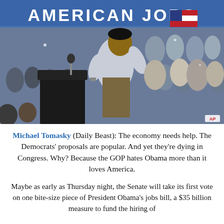[Figure (photo): Photo of President Obama speaking at a podium in front of a crowd at an American Jobs event. Blue banner reading 'AMERICAN JOBS' visible behind him with white stars. AP watermark in bottom right corner.]
Michael Tomasky (Daily Beast): The economy needs help. The Democrats' proposals are popular. And yet they're dying in Congress. Why? Because the GOP hates Obama more than it loves America.
Maybe as early as Thursday night, the Senate will take its first vote on one bite-size piece of President Obama's jobs bill, a $35 billion measure to fund the hiring of